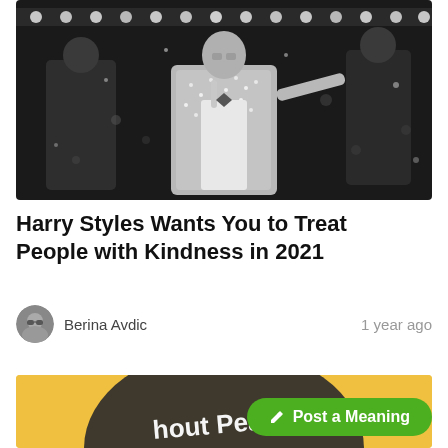[Figure (photo): Black and white photo of Harry Styles performing on stage in a sparkly jacket, holding a microphone, with lights in the background and other performers visible]
Harry Styles Wants You to Treat People with Kindness in 2021
Berina Avdic
1 year ago
[Figure (photo): Partial image showing golden/yellow background with dark circular arc text reading 'hout Peace']
Post a Meaning